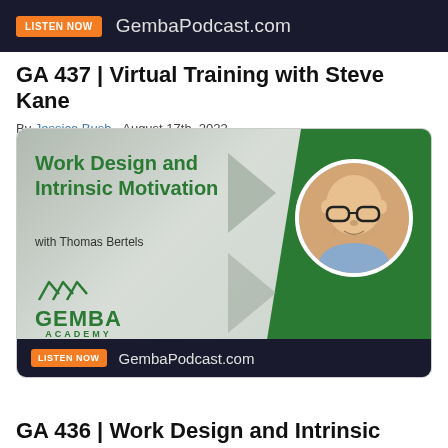[Figure (screenshot): Dark banner with orange LISTEN NOW button and GembaPodcast.com text]
GA 437 | Virtual Training with Steve Kane
By Jessica Bush - August 17th, 2022
[Figure (illustration): Gemba Academy podcast card showing 'Work Design and Intrinsic Motivation with Thomas Bertels' with a photo of a man with glasses, green design elements, Gemba Academy logo, and LISTEN NOW GembaPodcast.com banner at bottom]
GA 436 | Work Design and Intrinsic